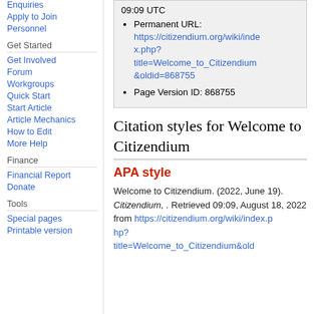Enquiries
Apply to Join
Personnel
Get Started
Get Involved
Forum
Workgroups
Quick Start
Start Article
Article Mechanics
How to Edit
More Help
Finance
Financial Report
Donate
Tools
Special pages
Printable version
09:09 UTC
Permanent URL: https://citizendium.org/wiki/index.php?title=Welcome_to_Citizendium&oldid=868755
Page Version ID: 868755
Citation styles for Welcome to Citizendium
APA style
Welcome to Citizendium. (2022, June 19). Citizendium, . Retrieved 09:09, August 18, 2022 from https://citizendium.org/wiki/index.php?title=Welcome_to_Citizendium&old